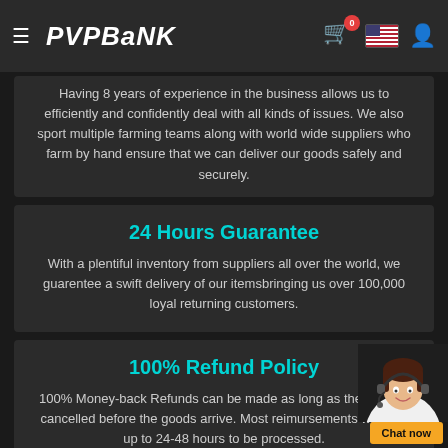PVPBank
Having 8 years of experience in the business allows us to efficiently and confidently deal with all kinds of issues. We also sport multiple farming teams along with world wide suppliers who farm by hand ensure that we can deliver our goods safely and securely.
24 Hours Guarantee
With a plentiful inventory from suppliers all over the world, we guarentee a swift delivery of our itemsbringing us over 100,000 loyal returning customers.
100% Refund Policy
100% Money-back Refunds can be made as long as the order is cancelled before the goods arrive. Most reimursements will take up to 24-48 hours to be processed.
Best Prices Anywhere
Our overwhelming stock size gives us confidence that our prices are the lowest that you will find!